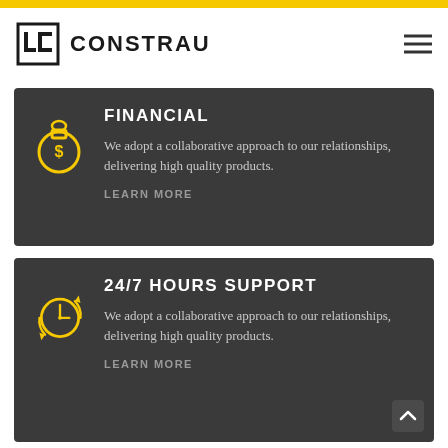[Figure (logo): Constrau company logo with geometric LC icon and text CONSTRAU]
FINANCIAL
We adopt a collaborative approach to our relationships, delivering high quality products.
LEARN MORE
24/7 HOURS SUPPORT
We adopt a collaborative approach to our relationships, delivering high quality products.
LEARN MORE